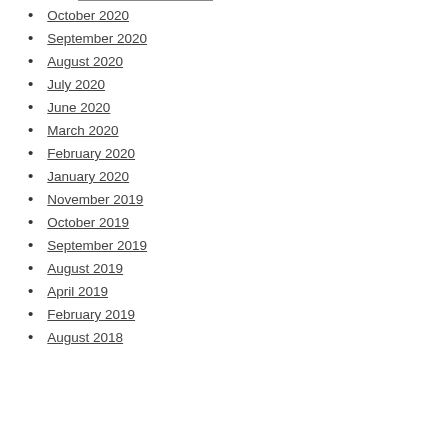October 2020
September 2020
August 2020
July 2020
June 2020
March 2020
February 2020
January 2020
November 2019
October 2019
September 2019
August 2019
April 2019
February 2019
August 2018